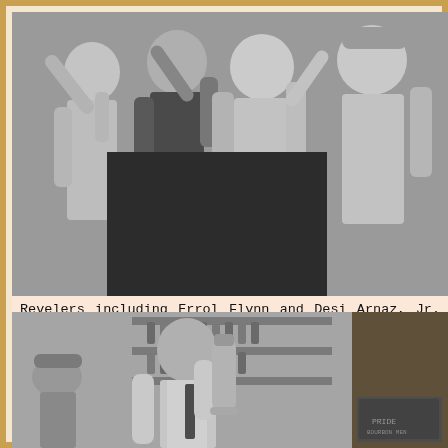[Figure (photo): Black and white photograph of several people in white jackets forming a conga line, arms raised and dancing together.]
Revelers including Errol Flynn and Desi Arnaz, Jr. form a conga line during the Yoruba festival known as Dia de Babalú-Ayé.
[Figure (photo): Black and white photograph of a man in a white shirt and tie holding up a large cocktail shaker, with shelves of bottles visible in the background.]